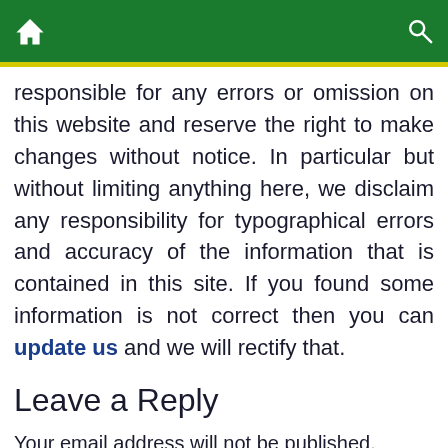Home | Search
responsible for any errors or omission on this website and reserve the right to make changes without notice. In particular but without limiting anything here, we disclaim any responsibility for typographical errors and accuracy of the information that is contained in this site. If you found some information is not correct then you can update us and we will rectify that.
Leave a Reply
Your email address will not be published. Required fields are marked *
Comment *